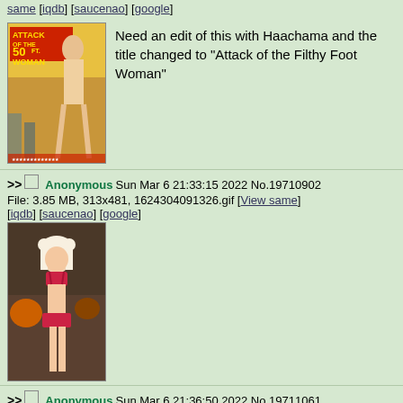same [iqdb] [saucenao] [google]
[Figure (photo): Movie poster for 'Attack of the 50 Foot Woman']
Need an edit of this with Haachama and the title changed to "Attack of the Filthy Foot Woman"
>> Anonymous Sun Mar 6 21:33:15 2022 No.19710902
File: 3.85 MB, 313x481, 1624304091326.gif [View same] [iqdb] [saucenao] [google]
[Figure (photo): Anime girl in red bikini/swimsuit, appearing to be Haachama character]
>> Anonymous Sun Mar 6 21:36:50 2022 No.19711061
>>19710902
BRING BACK SWIMSUITS YOU COWARDS
SUSAN HATE